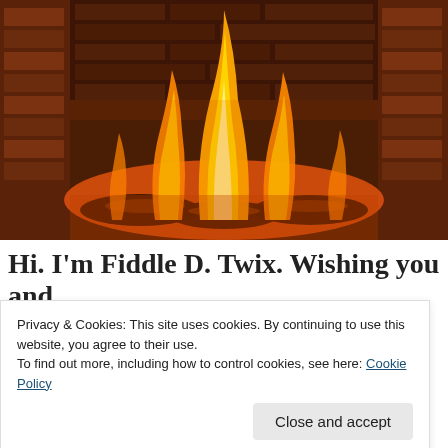[Figure (photo): A fireplace with bright orange and yellow flames burning over logs, with a brick backdrop visible in the background. The fire is vivid and glowing.]
Hi. I'm Fiddle D. Twix. Wishing you and
Privacy & Cookies: This site uses cookies. By continuing to use this website, you agree to their use.
To find out more, including how to control cookies, see here: Cookie Policy
Close and accept
Thank you all for joining me on this